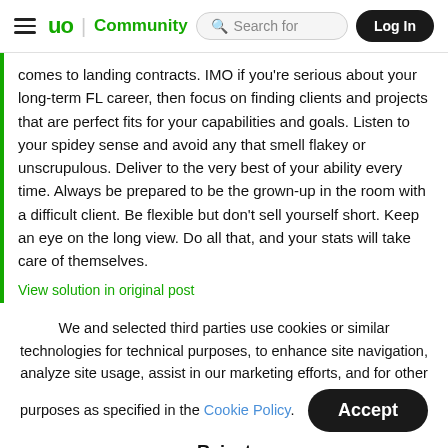≡ up | Community   Search for   Log In
comes to landing contracts. IMO if you're serious about your long-term FL career, then focus on finding clients and projects that are perfect fits for your capabilities and goals. Listen to your spidey sense and avoid any that smell flakey or unscrupulous. Deliver to the very best of your ability every time. Always be prepared to be the grown-up in the room with a difficult client. Be flexible but don't sell yourself short. Keep an eye on the long view. Do all that, and your stats will take care of themselves.
View solution in original post
We and selected third parties use cookies or similar technologies for technical purposes, to enhance site navigation, analyze site usage, assist in our marketing efforts, and for other purposes as specified in the Cookie Policy.
Accept
Reject